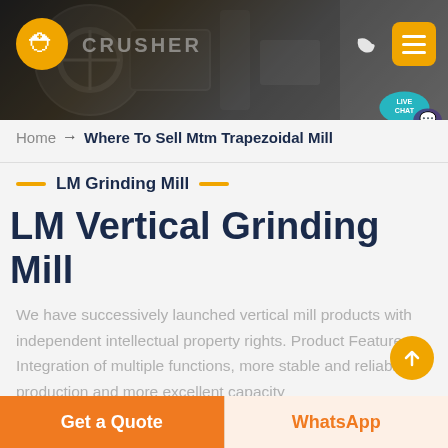[Figure (screenshot): Website header with dark machinery/crusher background, orange logo with hard-hat icon on left, dark mode moon icon and orange menu hamburger icon on top right, teal live chat bubble on right side]
Home → Where To Sell Mtm Trapezoidal Mill
LM Grinding Mill
LM Vertical Grinding Mill
We have successively launched vertical mill products with independent intellectual property rights. Product Features: Integration of multiple functions, more stable and reliable production and more excellent capacity